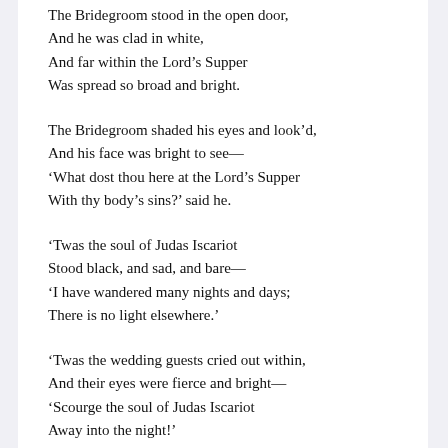The Bridegroom stood in the open door,
And he was clad in white,
And far within the Lord's Supper
Was spread so broad and bright.
The Bridegroom shaded his eyes and look'd,
And his face was bright to see—
'What dost thou here at the Lord's Supper
With thy body's sins?' said he.
'Twas the soul of Judas Iscariot
Stood black, and sad, and bare—
'I have wandered many nights and days;
There is no light elsewhere.'
'Twas the wedding guests cried out within,
And their eyes were fierce and bright—
'Scourge the soul of Judas Iscariot
Away into the night!'